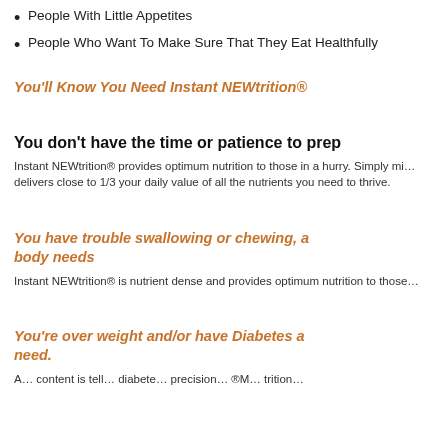People With Little Appetites
People Who Want To Make Sure That They Eat Healthfully
You'll Know You Need Instant NEWtrition®
You don't have the time or patience to prep
Instant NEWtrition® provides optimum nutrition to those in a hurry. Simply mi... delivers close to 1/3 your daily value of all the nutrients you need to thrive.
You have trouble swallowing or chewing, a... body needs
Instant NEWtrition® is nutrient dense and provides optimum nutrition to those...
You're over weight and/or have Diabetes a... need.
A... content is tell... diabete... precision... ®M... trition...